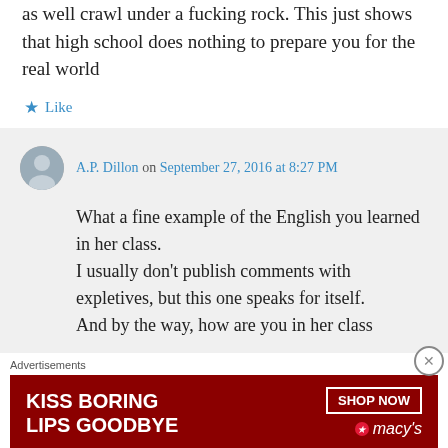as well crawl under a fucking rock. This just shows that high school does nothing to prepare you for the real world
★ Like
A.P. Dillon on September 27, 2016 at 8:27 PM
What a fine example of the English you learned in her class.
I usually don't publish comments with expletives, but this one speaks for itself.
And by the way, how are you in her class
Advertisements
[Figure (other): Macy's advertisement banner: KISS BORING LIPS GOODBYE with SHOP NOW button and Macy's logo with red star]